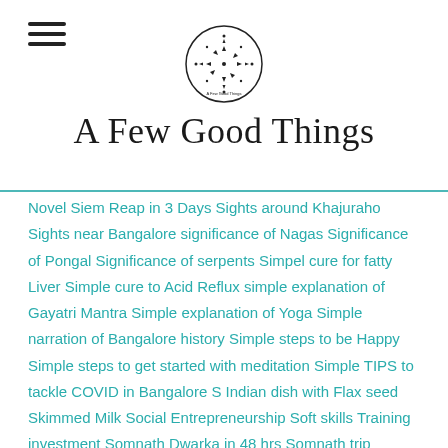A Few Good Things
Novel Siem Reap in 3 Days Sights around Khajuraho Sights near Bangalore significance of Nagas Significance of Pongal Significance of serpents Simpel cure for fatty Liver Simple cure to Acid Reflux simple explanation of Gayatri Mantra Simple explanation of Yoga Simple narration of Bangalore history Simple steps to be Happy Simple steps to get started with meditation Simple TIPS to tackle COVID in Bangalore S Indian dish with Flax seed Skimmed Milk Social Entrepreneurship Soft skills Training investment Somnath Dwarka in 48 hrs Somnath trip Soulitude by the Riverside Soulitude in the Himalays Soul Space at prestige Mayberry South Ruchi Thali Spark Mentor Sparsa Sparsa Resort spending 48 hrs at Badami Spice Garden Spinning Spiritual giants from India Sprout Sri M book on Yoga Sri M explains Yoga Sri M Satsang Foundation Sri M Talk on Ashtanga Yoga Sri M Talk on Yoga Sri M talks on Yoga Srisailam from Bangalore Srisailam trip planning Srivari Mettu Star Wars Statesman State Tax on petrol Station Stay at Badami Stay healthy during Corona staying busy after retirement Steps Stingy Sultan Stopover to Pondicherry Stories associated with Makar Sankranthi Story of Chess & Rice Story of Mapletree Story of